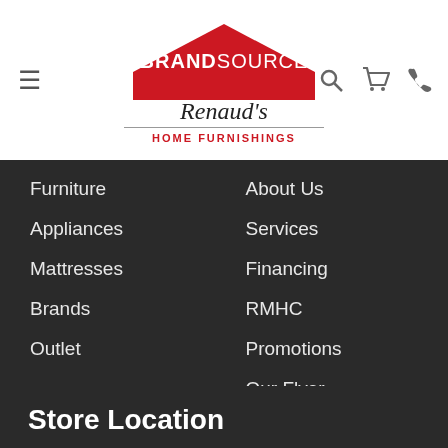[Figure (logo): BrandSource Renaud's Home Furnishings logo with red house shape]
Furniture
Appliances
Mattresses
Brands
Outlet
About Us
Services
Financing
RMHC
Promotions
Our Flyer
COVID-19 Information
90-Day Comfort Guarantee
Return & Store Policies
Store Location